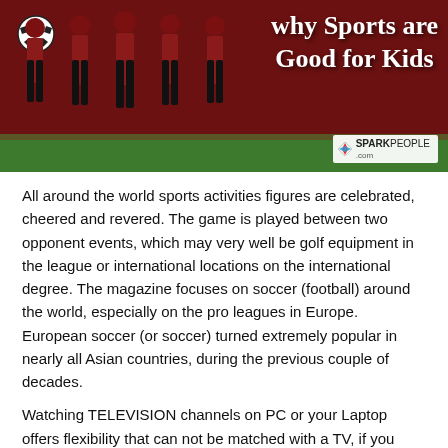[Figure (photo): Children in red soccer uniforms standing together on a field. Text overlay reads 'why Sports are Good for Kids' with SparkPeople.com logo in bottom right.]
All around the world sports activities figures are celebrated, cheered and revered. The game is played between two opponent events, which may very well be golf equipment in the league or international locations on the international degree. The magazine focuses on soccer (football) around the world, especially on the pro leagues in Europe. European soccer (or soccer) turned extremely popular in nearly all Asian countries, during the previous couple of decades.
Watching TELEVISION channels on PC or your Laptop offers flexibility that can not be matched with a TV, if you wish to quickly catch up with the news or the monetary markets or